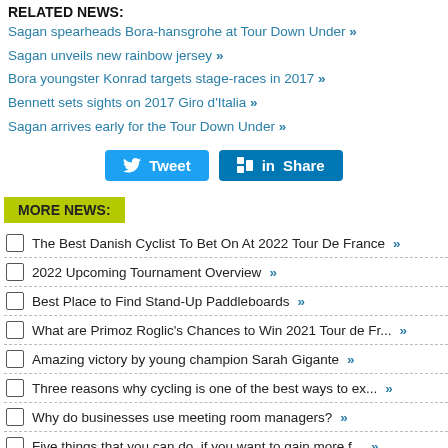RELATED NEWS:
Sagan spearheads Bora-hansgrohe at Tour Down Under »
Sagan unveils new rainbow jersey »
Bora youngster Konrad targets stage-races in 2017 »
Bennett sets sights on 2017 Giro d'Italia »
Sagan arrives early for the Tour Down Under »
[Figure (other): Tweet and Share social media buttons]
MORE NEWS:
The Best Danish Cyclist To Bet On At 2022 Tour De France »
2022 Upcoming Tournament Overview »
Best Place to Find Stand-Up Paddleboards »
What are Primoz Roglic's Chances to Win 2021 Tour de Fr... »
Amazing victory by young champion Sarah Gigante »
Three reasons why cycling is one of the best ways to ex... »
Why do businesses use meeting room managers? »
Five things that you can do, if you want to gain more f... »
One for the road »
List of CyclingQuotes previews »